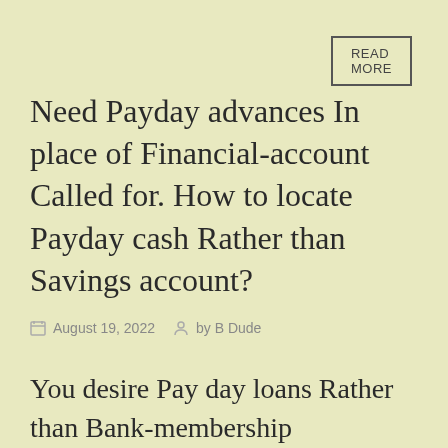READ MORE
Need Payday advances In place of Financial-account Called for. How to locate Payday cash Rather than Savings account?
August 19, 2022  by B Dude
You desire Pay day loans Rather than Bank-membership Necessary. Where to find Payday advances In place of Savings